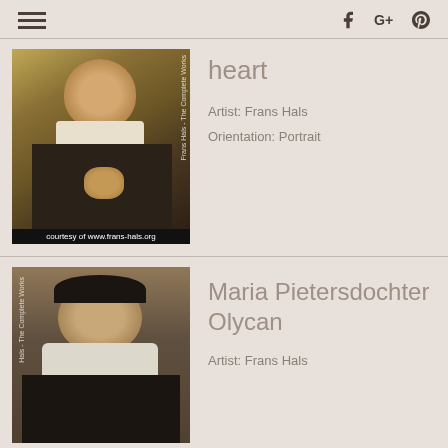[Figure (photo): Portrait painting of a man with beard placing hand on heart, by Frans Hals. Caption reads: courtesy of www.frans-hals.org. Vertical watermark text: Frans Hals - The Complete Works]
heart
Artist: Frans Hals
Orientation: Portrait
[Figure (photo): Portrait painting of Maria Pietersdochter Olycan, a woman in dark dress with white lace collar, by Frans Hals. Vertical watermark text: Hals - The Complete Works]
Maria Pietersdochter Olycan
Artist: Frans Hals